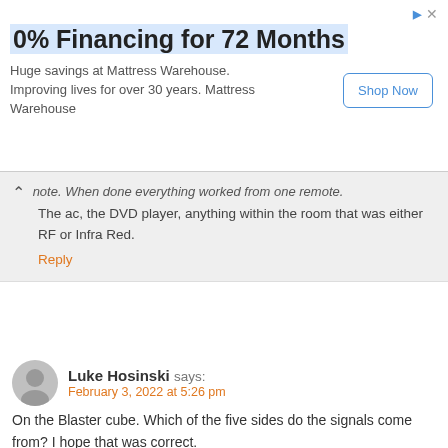[Figure (infographic): Advertisement banner: 0% Financing for 72 Months - Huge savings at Mattress Warehouse. Improving lives for over 30 years. Mattress Warehouse. Shop Now button.]
note. When done everything worked from one remote. The ac, the DVD player, anything within the room that was either RF or Infra Red.
Reply
Luke Hosinski says:
February 3, 2022 at 5:26 pm
On the Blaster cube. Which of the five sides do the signals come from? I hope that was correct.
Reply